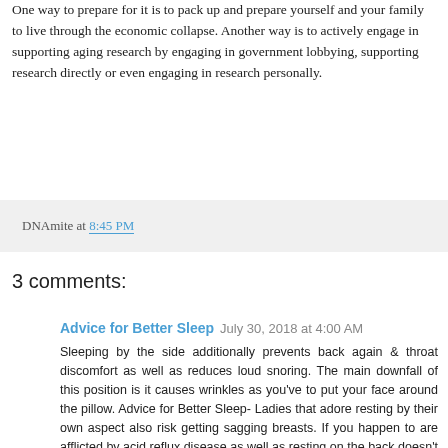One way to prepare for it is to pack up and prepare yourself and your family to live through the economic collapse. Another way is to actively engage in supporting aging research by engaging in government lobbying, supporting research directly or even engaging in research personally.
DNAmite at 8:45 PM
3 comments:
Advice for Better Sleep  July 30, 2018 at 4:00 AM
Sleeping by the side additionally prevents back again & throat discomfort as well as reduces loud snoring. The main downfall of this position is it causes wrinkles as you've to put your face around the pillow. Advice for Better Sleep- Ladies that adore resting by their own aspect also risk getting sagging breasts. If you happen to are afflicted by acid reflux disease as well as resting on the back doesn't seem comfortable for you, kindly try this position.
Reply